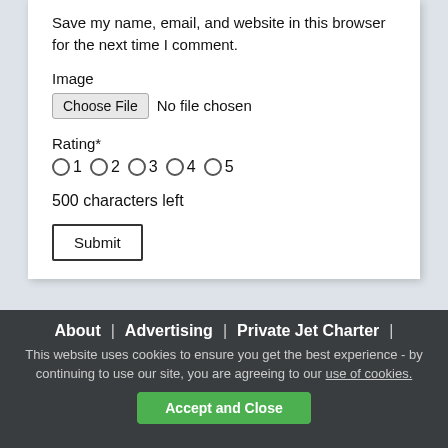Save my name, email, and website in this browser for the next time I comment.
Image
[Figure (screenshot): File input button showing 'Choose File' button and 'No file chosen' text]
Rating*
[Figure (other): Radio button group with options 1 through 5]
500 characters left
[Figure (screenshot): Submit button]
About | Advertising | Private Jet Charter | This website uses cookies to ensure you get the best experience - by continuing to use our site, you are agreeing to our use of cookies. Accept and Close